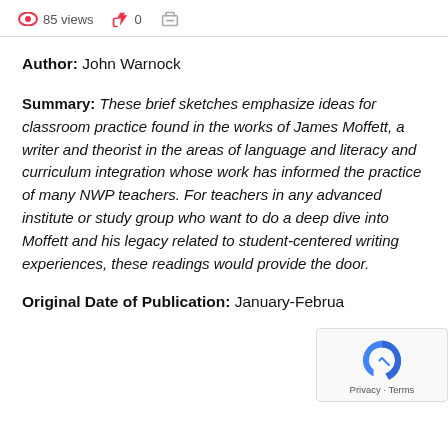85 views  0
Author: John Warnock
Summary: These brief sketches emphasize ideas for classroom practice found in the works of James Moffett, a writer and theorist in the areas of language and literacy and curriculum integration whose work has informed the practice of many NWP teachers. For teachers in any advanced institute or study group who want to do a deep dive into Moffett and his legacy related to student-centered writing experiences, these readings would provide the door.
Original Date of Publication: January-February...